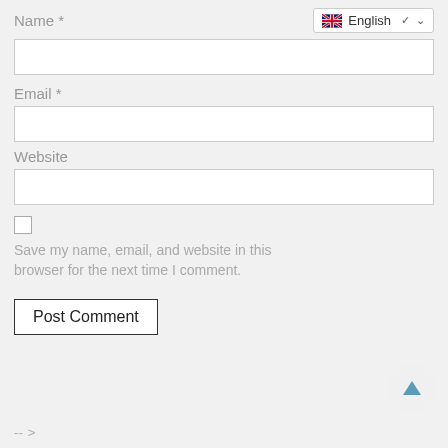Name *
[Figure (screenshot): Language selector dropdown showing UK flag and 'English' with a chevron]
Email *
Website
Save my name, email, and website in this browser for the next time I comment.
Post Comment
-->